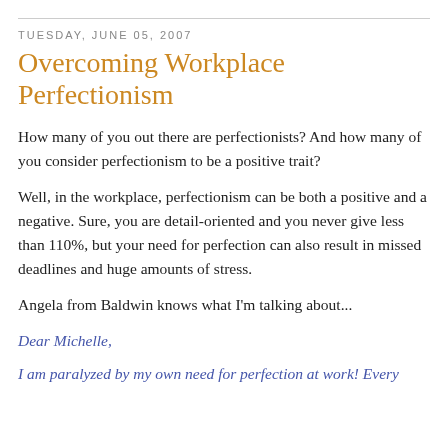TUESDAY, JUNE 05, 2007
Overcoming Workplace Perfectionism
How many of you out there are perfectionists? And how many of you consider perfectionism to be a positive trait?
Well, in the workplace, perfectionism can be both a positive and a negative. Sure, you are detail-oriented and you never give less than 110%, but your need for perfection can also result in missed deadlines and huge amounts of stress.
Angela from Baldwin knows what I'm talking about...
Dear Michelle,
I am paralyzed by my own need for perfection at work! Every